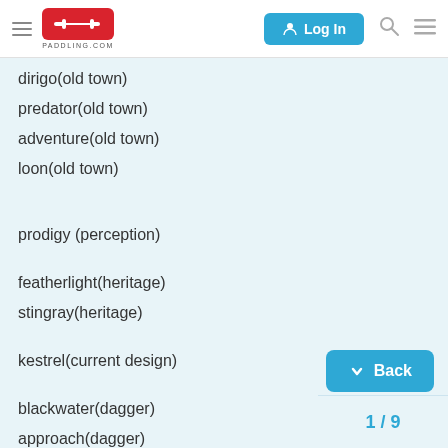PADDLING.COM — Log In
dirigo(old town)
predator(old town)
adventure(old town)
loon(old town)
prodigy (perception)
featherlight(heritage)
stingray(heritage)
kestrel(current design)
blackwater(dagger)
approach(dagger)
marvel(natives)
1 / 9